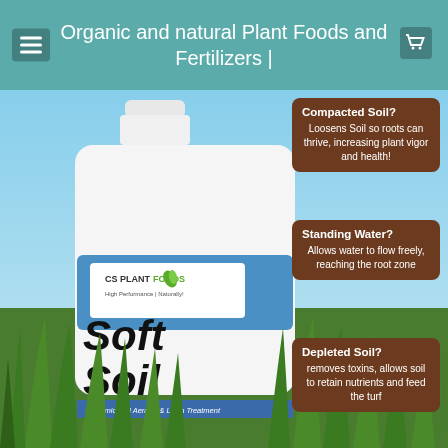Organic and natural Plant Foods and Fertilizers |
[Figure (photo): Product photo of CS Plant Foods 'Soft Soil' Humic Soil Aerator & Lawn Treatment one-gallon jug against a blue sky background with green grass. Three brown info boxes on the right side read: 'Compacted Soil? Loosens Soil so roots can thrive, increasing plant vigor and health!', 'Standing Water? Allows water to flow freely, reaching the root zone', 'Depleted Soil? removes toxins, allows soil to retain nutrients and feed the turf']